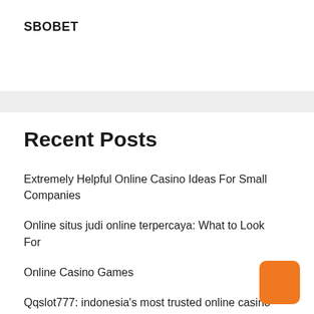SBOBET
Recent Posts
Extremely Helpful Online Casino Ideas For Small Companies
Online situs judi online terpercaya: What to Look For
Online Casino Games
Qqslot777: indonesia's most trusted online casino
Triple Your Outcomes' Online Casino In Half The Time